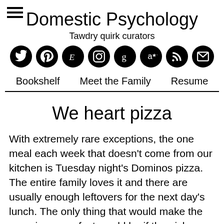Domestic Psychology
Tawdry quirk curators
[Figure (other): Social media icon buttons: Twitter, Pinterest, Etsy, Instagram, Goodreads, Amazon, RSS, Email — all black circles with white icons]
Bookshelf   Meet the Family   Resume
We heart pizza
With extremely rare exceptions, the one meal each week that doesn't come from our kitchen is Tuesday night's Dominos pizza. The entire family loves it and there are usually enough leftovers for the next day's lunch. The only thing that would make the experience perfect would be if the pick-